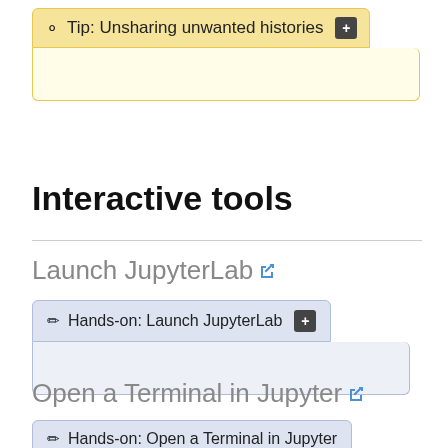Tip: Unsharing unwanted histories
Interactive tools
Launch JupyterLab
Hands-on: Launch JupyterLab
Open a Terminal in Jupyter
Hands-on: Open a Terminal in Jupyter